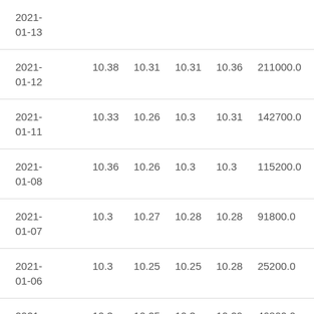| 2021-01-13 |  |  |  |  |  |
| 2021-01-12 | 10.38 | 10.31 | 10.31 | 10.36 | 211000.0 |
| 2021-01-11 | 10.33 | 10.26 | 10.3 | 10.31 | 142700.0 |
| 2021-01-08 | 10.36 | 10.26 | 10.3 | 10.3 | 115200.0 |
| 2021-01-07 | 10.3 | 10.27 | 10.28 | 10.28 | 91800.0 |
| 2021-01-06 | 10.3 | 10.25 | 10.25 | 10.28 | 25200.0 |
| 2021-01-05 | 10.3 | 10.25 | 10.3 | 10.29 | 46800.0 |